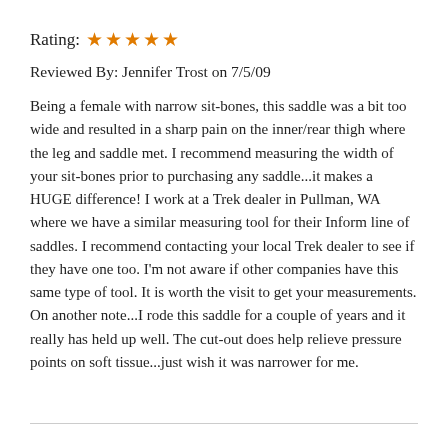Rating: ★★★★★
Reviewed By: Jennifer Trost on 7/5/09
Being a female with narrow sit-bones, this saddle was a bit too wide and resulted in a sharp pain on the inner/rear thigh where the leg and saddle met. I recommend measuring the width of your sit-bones prior to purchasing any saddle...it makes a HUGE difference! I work at a Trek dealer in Pullman, WA where we have a similar measuring tool for their Inform line of saddles. I recommend contacting your local Trek dealer to see if they have one too. I'm not aware if other companies have this same type of tool. It is worth the visit to get your measurements. On another note...I rode this saddle for a couple of years and it really has held up well. The cut-out does help relieve pressure points on soft tissue...just wish it was narrower for me.